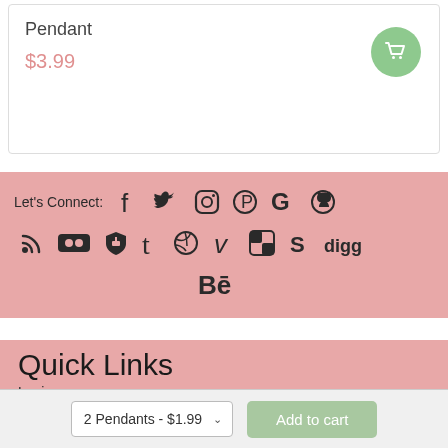Pendant
$3.99
[Figure (infographic): Social media connect section with icons for Facebook, Twitter, Instagram, Pinterest, Google, GitHub, RSS, Flickr, an app icon, Tumblr, Dribbble, Vimeo, a checkerboard icon, Skype, Digg, and Behance]
Let's Connect:
Quick Links
Login
2 Pendants - $1.99
Add to cart